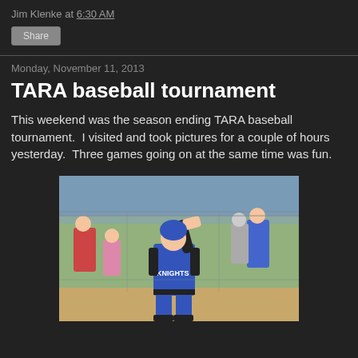Jim Klenke at 6:30 AM
Share
Monday, November 11, 2013
TARA baseball tournament
This weekend was the season ending TARA baseball tournament.  I visited and took pictures for a couple of hours yesterday.  Three games going on at the same time was fun.
[Figure (photo): A youth baseball player in a blue Knights uniform with arm raised, standing on a baseball field with chain-link fence and spectators in the background.]